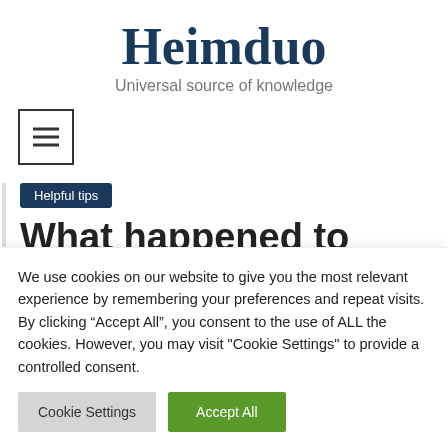Heimduo
Universal source of knowledge
[Figure (other): Hamburger menu button icon inside a square border]
Helpful tips
What happened to
We use cookies on our website to give you the most relevant experience by remembering your preferences and repeat visits. By clicking “Accept All”, you consent to the use of ALL the cookies. However, you may visit "Cookie Settings" to provide a controlled consent.
Cookie Settings   Accept All